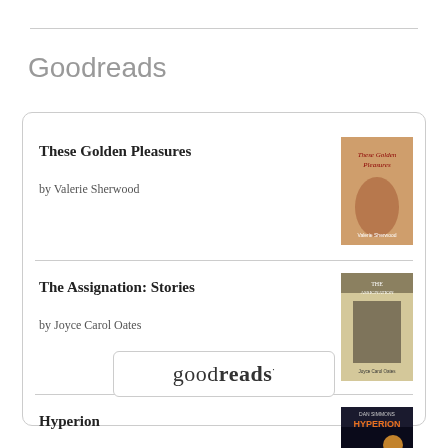Goodreads
These Golden Pleasures
by Valerie Sherwood
The Assignation: Stories
by Joyce Carol Oates
Hyperion
by Dan Simmons
[Figure (logo): goodreads logo button at bottom of card]